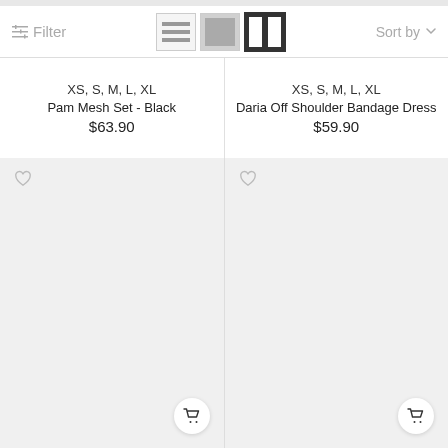Filter | Sort by
XS, S, M, L, XL
Pam Mesh Set - Black
$63.90
XS, S, M, L, XL
Daria Off Shoulder Bandage Dress
$59.90
[Figure (photo): Product image tile left - light grey background with heart icon and cart button]
[Figure (photo): Product image tile right - light grey background with heart icon and cart button]